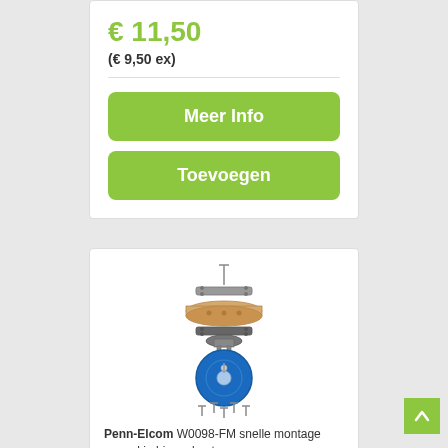€ 11,50
(€ 9,50 ex)
Meer Info
Toevoegen
[Figure (photo): Exploded view of a Penn-Elcom W0098-FM fast-mount caster assembly showing a bolt, mounting plate, wooden panel, blue rubber swivel caster wheel, and screws]
Penn-Elcom W0098-FM snelle montage paneel in binnenkant